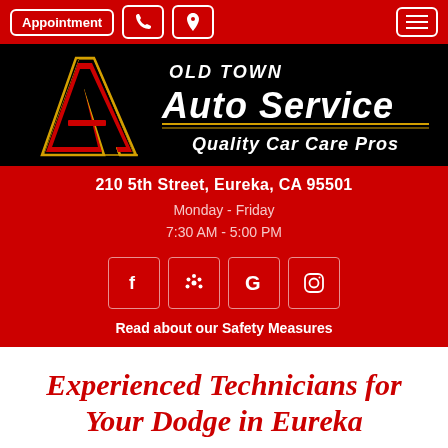Appointment | Phone | Location | Menu
[Figure (logo): Old Town Auto Service - Quality Car Care Pros logo. Black background with large stylized letter A in gold/red, text 'OLD TOWN Auto Service Quality Car Care Pros' in white and gold italic font.]
210 5th Street, Eureka, CA 95501
Monday - Friday
7:30 AM - 5:00 PM
[Figure (infographic): Row of four social media icon buttons: Facebook (f), Yelp (asterisk/flower), Google (G), Instagram (camera outline)]
Read about our Safety Measures
Experienced Technicians for Your Dodge in Eureka